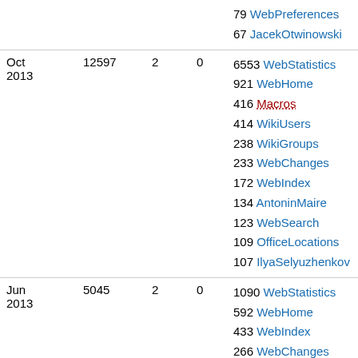| Month | Views | Saves | Attchs | Top pages |
| --- | --- | --- | --- | --- |
|  |  |  |  | 79 WebPreferences
67 JacekOtwinowski |
| Oct
2013 | 12597 | 2 | 0 | 6553 WebStatistics
921 WebHome
416 Macros
414 WikiUsers
238 WikiGroups
233 WebChanges
172 WebIndex
134 AntoninMaire
123 WebSearch
109 OfficeLocations
107 IlyaSelyuzhenkov |
| Jun
2013 | 5045 | 2 | 0 | 1090 WebStatistics
592 WebHome
433 WebIndex
266 WebChanges
216 WebRss
193 Macros
174 WikiUsers |